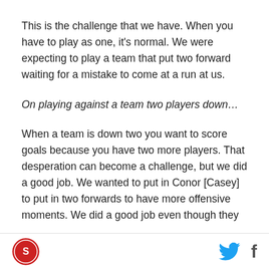This is the challenge that we have. When you have to play as one, it's normal. We were expecting to play a team that put two forward waiting for a mistake to come at a run at us.
On playing against a team two players down…
When a team is down two you want to score goals because you have two more players. That desperation can become a challenge, but we did a good job. We wanted to put in Conor [Casey] to put in two forwards to have more offensive moments. We did a good job even though they